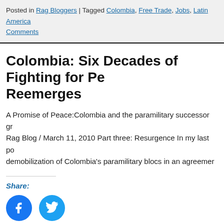Posted in Rag Bloggers | Tagged Colombia, Free Trade, Jobs, Latin America Comments
Colombia: Six Decades of Fighting for Pe… Reemerges
A Promise of Peace:Colombia and the paramilitary successor gr… Rag Blog / March 11, 2010 Part three: Resurgence In my last po… demobilization of Colombia's paramilitary blocs in an agreemer…
Share:
[Figure (illustration): Facebook and Twitter share icon buttons (blue circles with white logos)]
Posted in Rag Bloggers | Tagged Colombia, History, Human Rights, Latin Am… America | 1 Comment